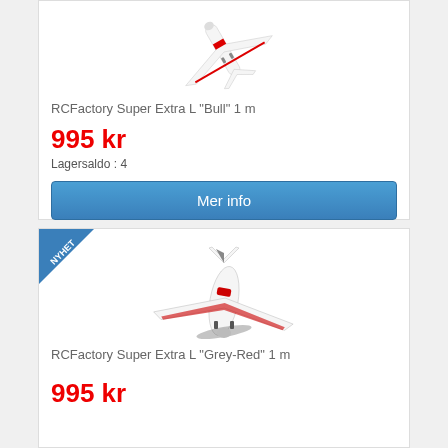[Figure (photo): RC airplane model - RCFactory Super Extra L Bull 1m, white with red markings, viewed from above at angle]
RCFactory Super Extra L "Bull" 1 m
995 kr
Lagersaldo : 4
Mer info
[Figure (photo): RC airplane model - RCFactory Super Extra L Grey-Red 1m, white with grey and red markings, viewed from front-top angle with propeller]
RCFactory Super Extra L "Grey-Red" 1 m
995 kr